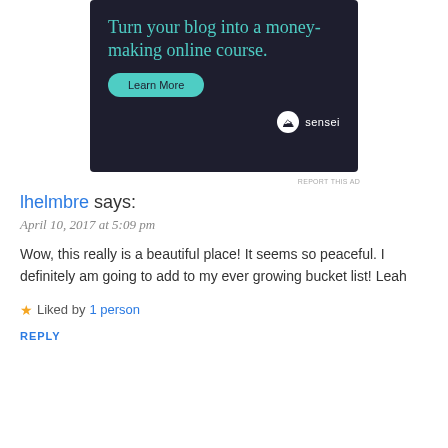[Figure (infographic): Advertisement banner with dark navy background. Large teal text reads 'Turn your blog into a money-making online course.' with a teal 'Learn More' pill button and Sensei logo at bottom right.]
REPORT THIS AD
lhelmbre says:
April 10, 2017 at 5:09 pm
Wow, this really is a beautiful place! It seems so peaceful. I definitely am going to add to my ever growing bucket list! Leah
★ Liked by 1 person
REPLY